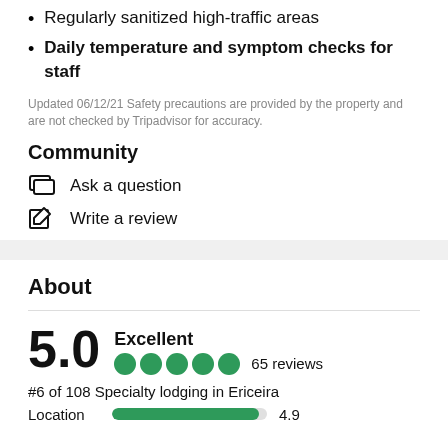Regularly sanitized high-traffic areas
Daily temperature and symptom checks for staff
Updated 06/12/21 Safety precautions are provided by the property and are not checked by Tripadvisor for accuracy.
Community
Ask a question
Write a review
About
5.0 Excellent 65 reviews
#6 of 108 Specialty lodging in Ericeira
Location 4.9